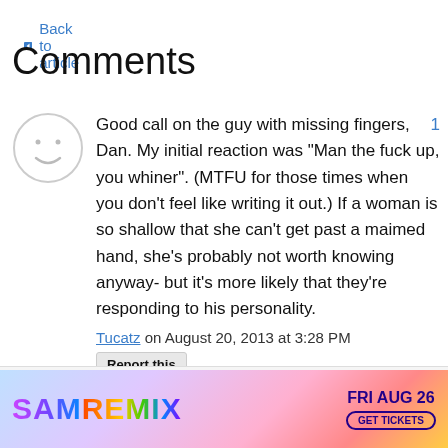Back to article
Comments
Good call on the guy with missing fingers, Dan. My initial reaction was "Man the fuck up, you whiner". (MTFU for those times when you don't feel like writing it out.) If a woman is so shallow that she can't get past a maimed hand, she's probably not worth knowing anyway- but it's more likely that they're responding to his personality.
Tucatz on August 20, 2013 at 3:28 PM
Report this
[Figure (screenshot): Advertisement banner for SAM REMIX event on FRI AUG 26 with GET TICKETS button]